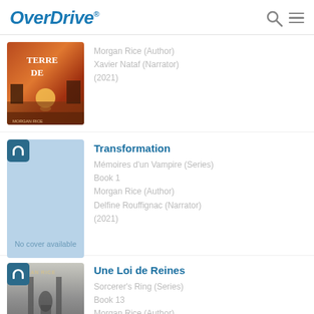[Figure (logo): OverDrive logo in blue italic text with registered trademark symbol]
Morgan Rice (Author)
Xavier Nataf (Narrator)
(2021)
Transformation
Mémoires d'un Vampire (Series)
Book 1
Morgan Rice (Author)
Delfine Rouffignac (Narrator)
(2021)
Une Loi de Reines
Sorcerer's Ring (Series)
Book 13
Morgan Rice (Author)